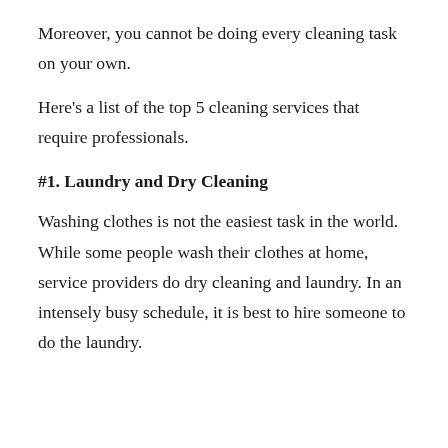Moreover, you cannot be doing every cleaning task on your own.
Here's a list of the top 5 cleaning services that require professionals.
#1. Laundry and Dry Cleaning
Washing clothes is not the easiest task in the world. While some people wash their clothes at home, service providers do dry cleaning and laundry. In an intensely busy schedule, it is best to hire someone to do the laundry.